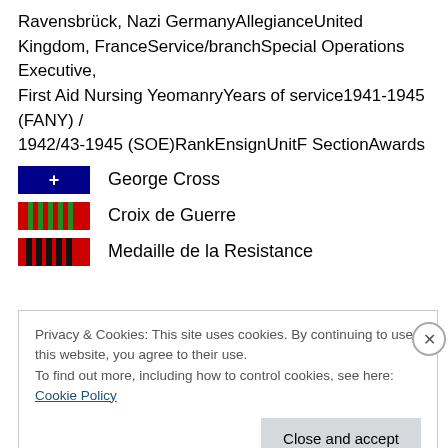Ravensbrück, Nazi GermanyAllegianceUnited Kingdom, FranceService/branchSpecial Operations Executive,
First Aid Nursing YeomanryYears of service1941-1945 (FANY) /
1942/43-1945 (SOE)RankEnsignUnitF SectionAwards
George Cross
Croix de Guerre
Medaille de la Resistance
Privacy & Cookies: This site uses cookies. By continuing to use this website, you agree to their use.
To find out more, including how to control cookies, see here: Cookie Policy